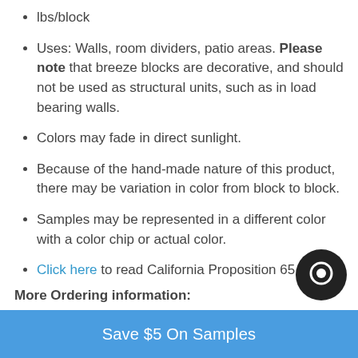lbs/block
Uses: Walls, room dividers, patio areas. Please note that breeze blocks are decorative, and should not be used as structural units, such as in load bearing walls.
Colors may fade in direct sunlight.
Because of the hand-made nature of this product, there may be variation in color from block to block.
Samples may be represented in a different color with a color chip or actual color.
Click here to read California Proposition 65 Disclosure
More Ordering information:
Save $5 On Samples